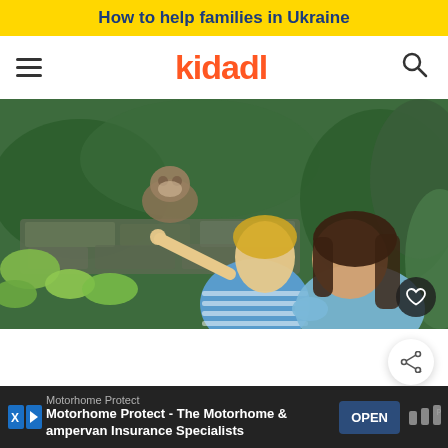How to help families in Ukraine
kidadl
[Figure (photo): Two children seen from behind, one pointing toward a monkey in a lush green jungle or garden setting with mossy rocks and tropical plants.]
Motorhome Protect
Motorhome Protect - The Motorhome & Campervan Insurance Specialists
OPEN